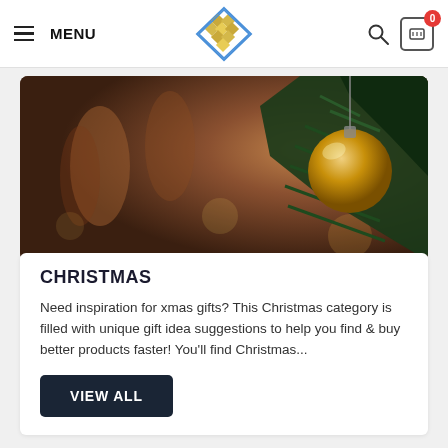MENU
[Figure (logo): Diamond/tile pattern logo in gold and blue colors]
[Figure (photo): Christmas tree with ornament ball hanging from pine branches, warm bokeh background, dark and moody holiday atmosphere]
CHRISTMAS
Need inspiration for xmas gifts? This Christmas category is filled with unique gift idea suggestions to help you find & buy better products faster! You'll find Christmas...
VIEW ALL